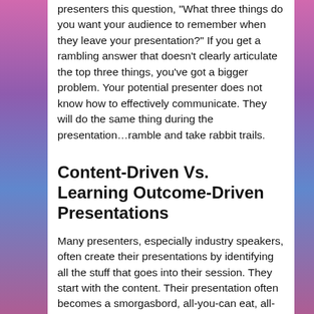presenters this question, "What three things do you want your audience to remember when they leave your presentation?" If you get a rambling answer that doesn't clearly articulate the top three things, you've got a bigger problem. Your potential presenter does not know how to effectively communicate. They will do the same thing during the presentation…ramble and take rabbit trails.
Content-Driven Vs. Learning Outcome-Driven Presentations
Many presenters, especially industry speakers, often create their presentations by identifying all the stuff that goes into their session. They start with the content. Their presentation often becomes a smorgasbord, all-you-can eat, all-the-research-that-exists, information dump that overwhelms the listener. Unfortunately, starting that way